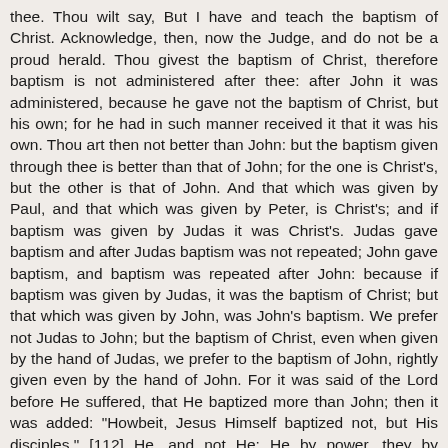thee. Thou wilt say, But I have and teach the baptism of Christ. Acknowledge, then, now the Judge, and do not be a proud herald. Thou givest the baptism of Christ, therefore baptism is not administered after thee: after John it was administered, because he gave not the baptism of Christ, but his own; for he had in such manner received it that it was his own. Thou art then not better than John: but the baptism given through thee is better than that of John; for the one is Christ's, but the other is that of John. And that which was given by Paul, and that which was given by Peter, is Christ's; and if baptism was given by Judas it was Christ's. Judas gave baptism and after Judas baptism was not repeated; John gave baptism, and baptism was repeated after John: because if baptism was given by Judas, it was the baptism of Christ; but that which was given by John, was John's baptism. We prefer not Judas to John; but the baptism of Christ, even when given by the hand of Judas, we prefer to the baptism of John, rightly given even by the hand of John. For it was said of the Lord before He suffered, that He baptized more than John; then it was added: "Howbeit, Jesus Himself baptized not, but His disciples." [112] He, and not He: He by power, they by ministry; they performed the service of baptizing, the power of baptizing remained in Christ. His disciples, then, baptized, and Judas was still among his disciples: and were those, then, whom Judas baptized not again baptized; and those whom John baptized were they again baptized? Plainly there was a repetition, but not a repetition of the same baptism. For those whom John baptized, John baptized; those whom Judas baptized, Christ baptized. In like manner, then, they whom a drunkard baptized, those whom a murderer baptized, those whom an adulterer baptized, if it was the baptism of Christ, were baptized by